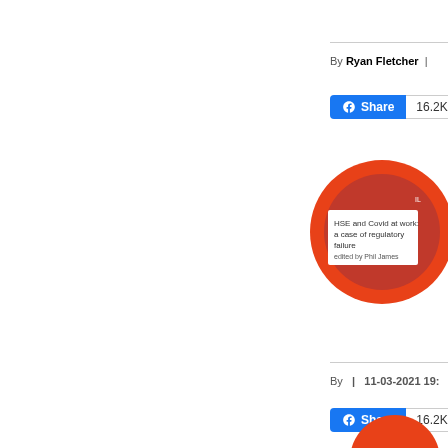By Ryan Fletcher |
[Figure (illustration): Book cover thumbnail showing red circular badge design with text 'HSE and Covid at work: a case of regulatory failure, edited by Phil James']
By | 11-03-2021 19:
[Figure (illustration): Partial red circular badge at bottom of page]